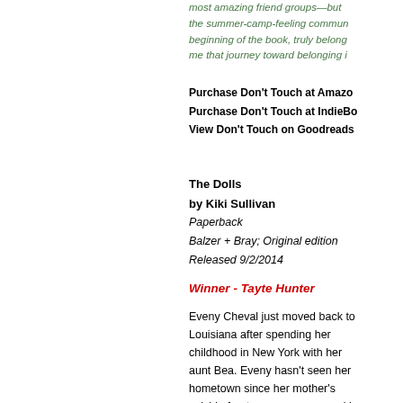most amazing friend groups—but the summer-camp-feeling commun beginning of the book, truly belong me that journey toward belonging i
Purchase Don't Touch at Amazo Purchase Don't Touch at IndieBo View Don't Touch on Goodreads
The Dolls
by Kiki Sullivan
Paperback
Balzer + Bray; Original edition
Released 9/2/2014
Winner - Tayte Hunter
Eveny Cheval just moved back to Louisiana after spending her childhood in New York with her aunt Bea. Eveny hasn't seen her hometown since her mother's suicide fourteen years ago, and he